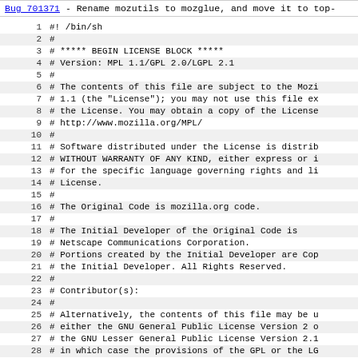Bug 701371 - Rename mozutils to mozglue, and move it to top-
Code listing lines 1-28 of a shell script with MPL 1.1/GPL 2.0/LGPL 2.1 license header